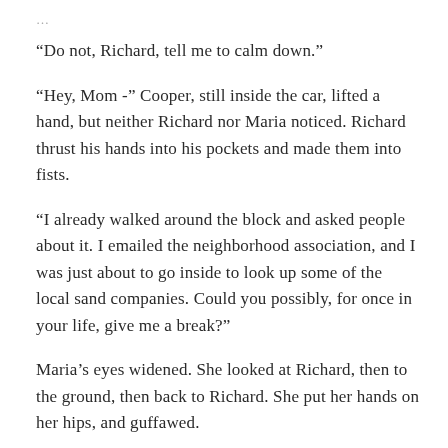…
“Do not, Richard, tell me to calm down.”
“Hey, Mom -” Cooper, still inside the car, lifted a hand, but neither Richard nor Maria noticed. Richard thrust his hands into his pockets and made them into fists.
“I already walked around the block and asked people about it. I emailed the neighborhood association, and I was just about to go inside to look up some of the local sand companies. Could you possibly, for once in your life, give me a break?”
Maria’s eyes widened. She looked at Richard, then to the ground, then back to Richard. She put her hands on her hips, and guffawed.